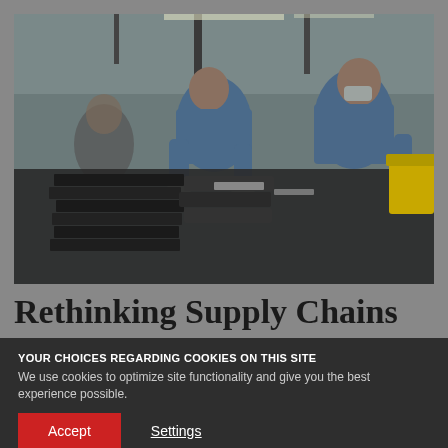[Figure (photo): Workers in blue uniforms and gloves working on an assembly line with electronic components/laptop parts in a manufacturing facility]
Rethinking Supply Chains
YOUR CHOICES REGARDING COOKIES ON THIS SITE
We use cookies to optimize site functionality and give you the best experience possible.
Accept
Settings